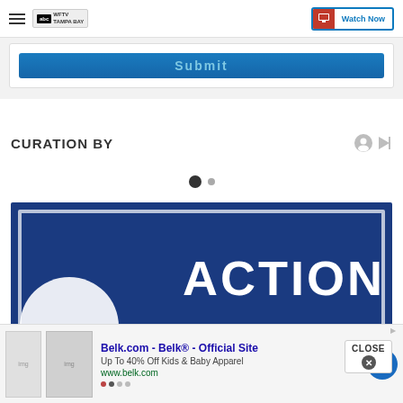WFTV Tampa Bay — Watch Now
[Figure (screenshot): Submit button — blue rounded button with teal-colored 'Submit' text on a white card with gray background]
CURATION BY
[Figure (other): Pagination dots — one large filled dark circle and one smaller gray circle]
[Figure (screenshot): Action News image card — dark blue background with white circular logo partially visible on left, large white 'ACTION' text on right, white border rectangle overlay]
[Figure (screenshot): Close button overlay with X circle and 'CLOSE' text]
[Figure (advertisement): Belk.com advertisement banner — showing kids clothing images, bold blue title 'Belk.com - Belk® - Official Site', subtitle 'Up To 40% Off Kids & Baby Apparel', URL 'www.belk.com', blue arrow button on right]